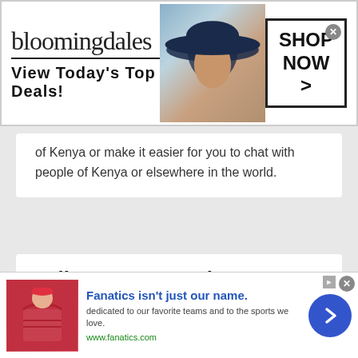[Figure (screenshot): Bloomingdale's advertisement banner with logo, woman in wide-brim hat, and SHOP NOW button]
of Kenya or make it easier for you to chat with people of Kenya or elsewhere in the world.
Talk to strangers in Kenya
Let's talk to the world or meet new people online
The use of online chat apps and social media apps
[Figure (screenshot): Fanatics advertisement banner: Fanatics isn't just our name. dedicated to our favorite teams and to the sports we love. www.fanatics.com]